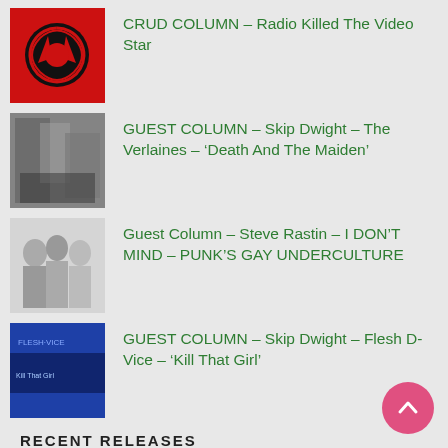CRUD COLUMN – Radio Killed The Video Star
GUEST COLUMN – Skip Dwight – The Verlaines – ‘Death And The Maiden’
Guest Column – Steve Rastin – I DON’T MIND – PUNK’S GAY UNDERCULTURE
GUEST COLUMN – Skip Dwight – Flesh D-Vice – ‘Kill That Girl’
RECENT RELEASES
NEW ALBUM – Telefair – Skin And Eyes
ALBUM REVIEW – Adam Walton – Afal